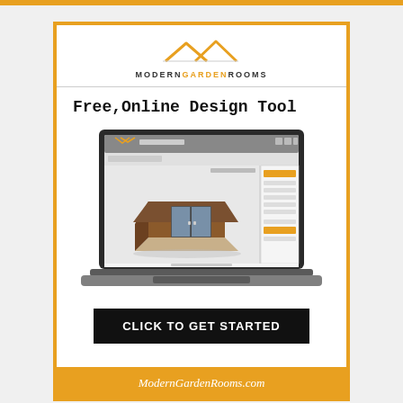[Figure (logo): Modern Garden Rooms logo with two mountain/roof peak shapes in orange/gold above the text MODERNGARDENROOMS]
Free,Online Design Tool
[Figure (screenshot): Laptop computer screen showing the Modern Garden Rooms online design tool interface with a 3D rendered garden room building made of wood with glass doors]
CLICK TO GET STARTED
ModernGardenRooms.com